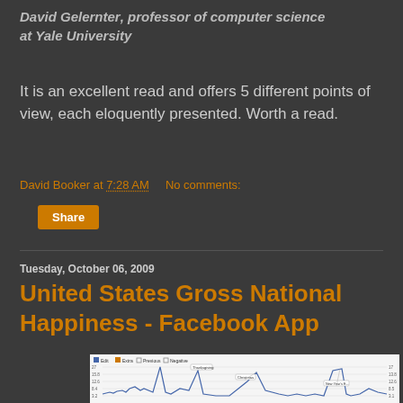David Gelernter, professor of computer science at Yale University
It is an excellent read and offers 5 different points of view, each eloquently presented. Worth a read.
David Booker at 7:28 AM   No comments:
Share
Tuesday, October 06, 2009
United States Gross National Happiness - Facebook App
[Figure (line-chart): A line chart showing happiness data over time with annotations including Thanksgiving, Christmas, and New Year's Eve peaks. Legend shows Edit, Extra, Previous, Negative options.]